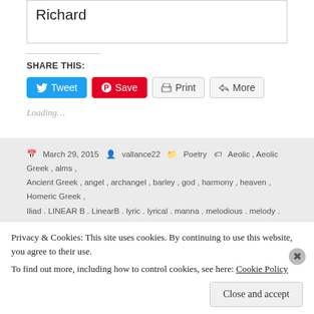Richard
SHARE THIS:
[Figure (screenshot): Social share buttons: Tweet (blue), Save/Pinterest (red), Print (gray), More (gray)]
Loading...
March 29, 2015  vallance22  Poetry  Aeolic, Aeolic Greek, alms, Ancient Greek, angel, archangel, barley, god, harmony, heaven, Homeric Greek, Iliad, LINEAR B, LinearB, lyric, lyrical, manna, melodious, melody, Michael,
Privacy & Cookies: This site uses cookies. By continuing to use this website, you agree to their use.
To find out more, including how to control cookies, see here: Cookie Policy
Close and accept